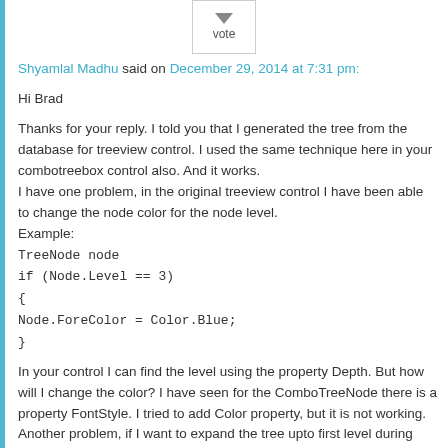[Figure (other): Down-vote arrow button with label 'vote']
Shyamlal Madhu said on December 29, 2014 at 7:31 pm:
Hi Brad
Thanks for your reply. I told you that I generated the tree from the database for treeview control. I used the same technique here in your combotreebox control also. And it works.
I have one problem, in the original treeview control I have been able to change the node color for the node level.
Example:
TreeNode node
if (Node.Level == 3)
{
Node.ForeColor = Color.Blue;
}
In your control I can find the level using the property Depth. But how will I change the color? I have seen for the ComboTreeNode there is a property FontStyle. I tried to add Color property, but it is not working.
Another problem, if I want to expand the tree upto first level during initialization, what I have to do. It has the property ExpandAll.
Finally, once again thanks for your brilliant control.